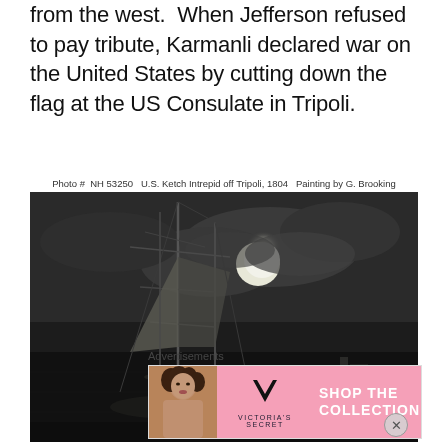from the west.  When Jefferson refused to pay tribute, Karmanli declared war on the United States by cutting down the flag at the US Consulate in Tripoli.
Photo #  NH 53250   U.S. Ketch Intrepid off Tripoli, 1804   Painting by G. Brooking
[Figure (photo): Black and white photograph of a painting showing U.S. Ketch Intrepid off Tripoli, 1804, by G. Brooking. The painting depicts sailing ships with masts and rigging against a dramatic night sky with a bright full moon partially obscured by clouds. A fortification is visible in the lower right background.]
Advertisements
[Figure (other): Victoria's Secret advertisement banner with pink background showing a model on the left, VS logo in center-left, text 'SHOP THE COLLECTION' in center, and white 'SHOP NOW' button on the right.]